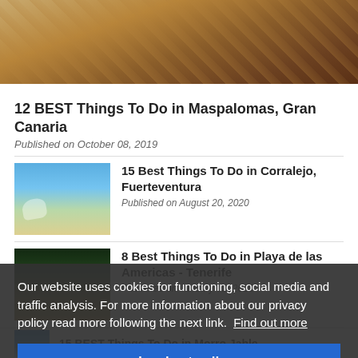[Figure (photo): Desert sand dunes with footprints, warm golden-brown tones, aerial/close-up view]
12 BEST Things To Do in Maspalomas, Gran Canaria
Published on October 08, 2019
[Figure (photo): Beach scene with blue sky and turquoise water, hand making a gesture in foreground]
15 Best Things To Do in Corralejo, Fuerteventura
Published on August 20, 2020
[Figure (photo): Dark tropical vegetation scene partially visible behind cookie overlay]
8 Best Things To Do in Playa de las Americas - Tenerife
Published on January 01, 2020
[Figure (photo): Partially visible article thumbnail for Puerto del Carmen, Lanzarote]
15 Best Things To Do In Puerto del Carmen, Lanzarote
[Figure (photo): Partially visible blue thumbnail for Morro Jable article]
15 BEST Things To Do in Morro Jable -
Our website uses cookies for functioning, social media and traffic analysis. For more information about our privacy policy read more following the next link.  Find out more
I understand!